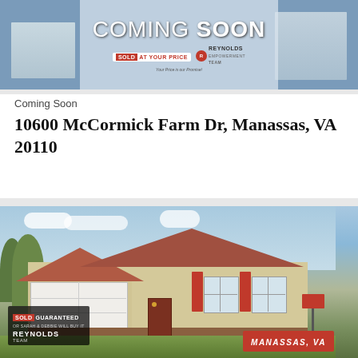[Figure (photo): Coming Soon banner header with house photos on left and right, COMING SOON text in center, SOLD AT YOUR PRICE badge and Reynolds Empowerment Team logo]
Coming Soon
10600 McCormick Farm Dr, Manassas, VA 20110
[Figure (photo): Exterior photo of a single-story ranch home with beige/tan siding, red shutters, two-car garage, brick accents, green lawn. Overlay includes SOLD GUARANTEED / Reynolds Team badge bottom-left and MANASSAS, VA badge bottom-right. Need Help? Click to Live Chat widget on right side.]